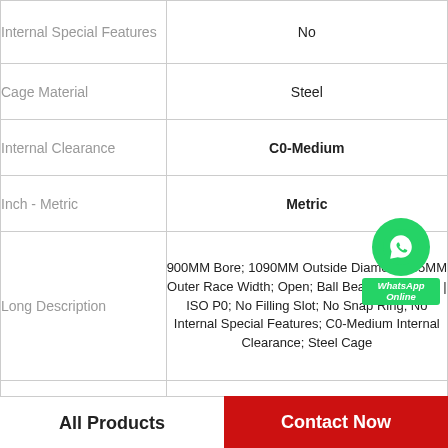| Feature | Value |
| --- | --- |
| Internal Special Features | No |
| Cage Material | Steel |
| Internal Clearance | C0-Medium |
| Inch - Metric | Metric |
| Long Description | 900MM Bore; 1090MM Outside Diameter; 85MM Outer Race Width; Open; Ball Bearing; ABEC 1 | ISO P0; No Filling Slot; No Snap Ring; No Internal Special Features; C0-Medium Internal Clearance; Steel Cage |
| Other Features | Deep Groove |
All Products | Contact Now